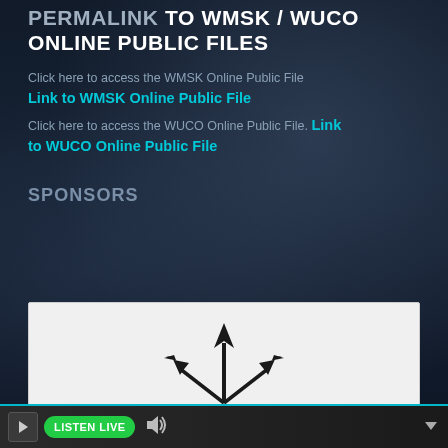PERMALINK TO WMSK / WUCO ONLINE PUBLIC FILES
Click here to access the WMSK Online Public File
Link to WMSK Online Public File
Click here to access the WUCO Online Public File. Link to WUCO Online Public File
SPONSORS
[Figure (logo): Sponsor logo with dark trident/arrow symbol on light gray background]
[Figure (other): Media player bar with play button, LISTEN LIVE green button, volume icon, and dropdown arrow]